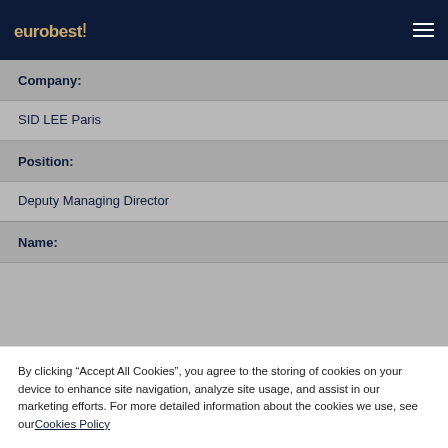eurobest
Company:
SID LEE Paris
Position:
Deputy Managing Director
Name:
By clicking “Accept All Cookies”, you agree to the storing of cookies on your device to enhance site navigation, analyze site usage, and assist in our marketing efforts. For more detailed information about the cookies we use, see our Cookies Policy